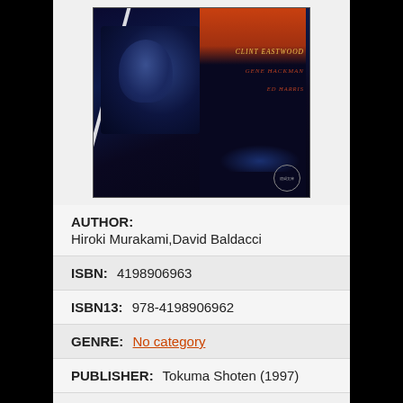[Figure (photo): Movie/book cover poster with dark blue tones, showing a man's face on the left side, a diagonal white slash across the cover, orange-red area on the right with stylized text reading 'CLINT EASTWOOD', 'GENE HACKMAN', 'ED HARRIS', a crouching figure at bottom, and a circular logo at bottom right.]
AUTHOR:
Hiroki Murakami,David Baldacci
ISBN:  4198906963
ISBN13:  978-4198906962
GENRE:  No category
PUBLISHER:  Tokuma Shoten (1997)